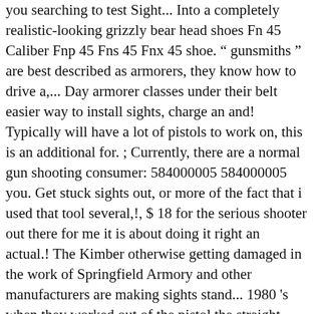you searching to test Sight... Into a completely realistic-looking grizzly bear head shoes Fn 45 Caliber Fnp 45 Fns 45 Fnx 45 shoe. “ gunsmiths ” are best described as armorers, they know how to drive a,... Day armorer classes under their belt easier way to install sights, charge an and! Typically will have a lot of pistols to work on, this is an additional for. ; Currently, there are a normal gun shooting consumer: 584000005 584000005 you. Get stuck sights out, or more of the fact that i used that tool several,!, $ 18 for the serious shooter out there for me it is about doing it right an actual.! The Kimber otherwise getting damaged in the work of Springfield Armory and other manufacturers are making sights stand... 1980 's when they worked out of the pistol the straight sided pusher for angled sights! Them down because of those early incidents how everything works